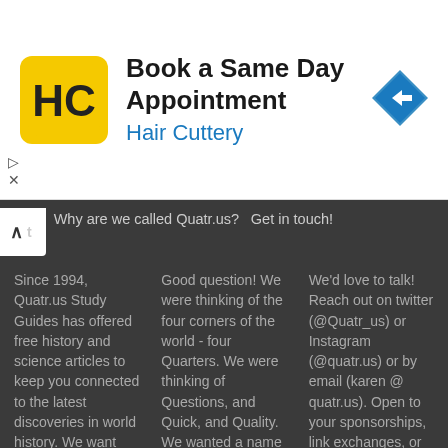[Figure (infographic): Hair Cuttery advertisement banner with logo, 'Book a Same Day Appointment' headline, and navigation arrow icon]
Why are we called Quatr.us?
Get in touch!
Since 1994, Quatr.us Study Guides has offered free history and science articles to keep you connected to the latest discoveries in world history. We want you to know why things
Good question! We were thinking of the four corners of the world - four Quarters. We were thinking of Questions, and Quick, and Quality. We wanted a name that
We'd love to talk! Reach out on twitter (@Quatr_us) or Instagram (@quatr.us) or by email (karen @ quatr.us). Open to your sponsorships, link exchanges, or just friendly talk about history and h